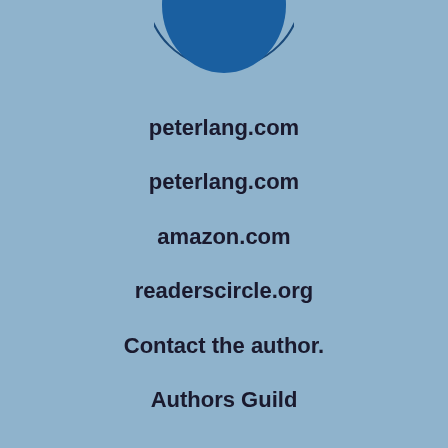[Figure (logo): Blue circular logo partially visible at top center of page]
peterlang.com
peterlang.com
amazon.com
readerscircle.org
Contact the author.
Authors Guild